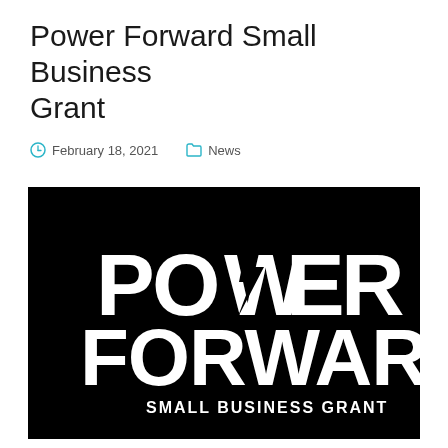Power Forward Small Business Grant
February 18, 2021   News
[Figure (logo): Power Forward Small Business Grant logo — white bold text on black background reading 'POWER FORWARD' with 'SMALL BUSINESS GRANT' below in smaller caps]